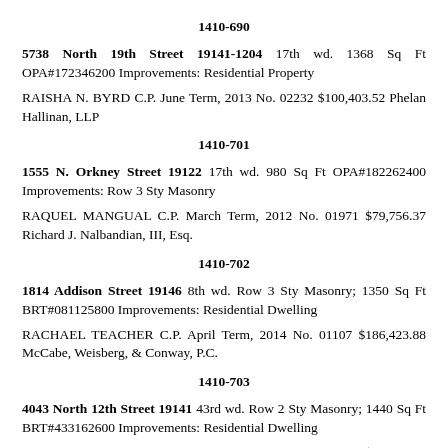1410-690
5738 North 19th Street 19141-1204 17th wd. 1368 Sq Ft OPA#172346200 Improvements: Residential Property
RAISHA N. BYRD C.P. June Term, 2013 No. 02232 $100,403.52 Phelan Hallinan, LLP
1410-701
1555 N. Orkney Street 19122 17th wd. 980 Sq Ft OPA#182262400 Improvements: Row 3 Sty Masonry
RAQUEL MANGUAL C.P. March Term, 2012 No. 01971 $79,756.37 Richard J. Nalbandian, III, Esq.
1410-702
1814 Addison Street 19146 8th wd. Row 3 Sty Masonry; 1350 Sq Ft BRT#081125800 Improvements: Residential Dwelling
RACHAEL TEACHER C.P. April Term, 2014 No. 01107 $186,423.88 McCabe, Weisberg, & Conway, P.C.
1410-703
4043 North 12th Street 19141 43rd wd. Row 2 Sty Masonry; 1440 Sq Ft BRT#433162600 Improvements: Residential Dwelling
AZALEE MCDONALD C.P. January Term, 2011 No. 03619 $31,149.79 McCabe,